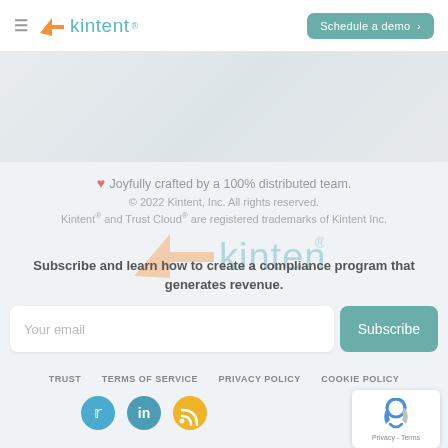≡ kintent® — Schedule a demo
[Figure (other): Gray gradient hero/banner area]
❤ Joyfully crafted by a 100% distributed team.
© 2022 Kintent, Inc. All rights reserved.
Kintent® and Trust Cloud® are registered trademarks of Kintent Inc.
[Figure (logo): Kintent logo watermark in orange and teal]
Subscribe and learn how to create a compliance program that generates revenue.
Your email
Subscribe
TRUST   TERMS OF SERVICE   PRIVACY POLICY   COOKIE POLICY
[Figure (other): Social media icons: Twitter (blue circle), LinkedIn (blue-green circle), RSS (yellow circle)]
[Figure (other): reCAPTCHA widget box with robot icon and Privacy - Terms text]